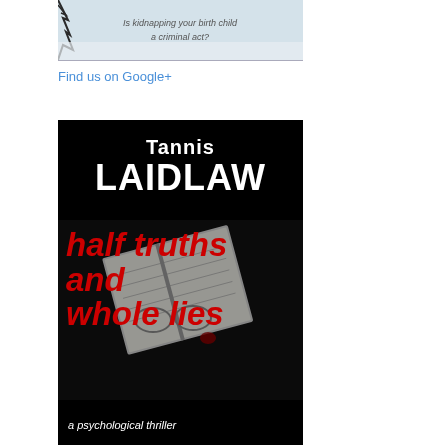[Figure (photo): Top portion of a book cover showing a snowy/wintry scene with trees and text 'Is kidnapping your birth child a criminal act?']
Find us on Google+
[Figure (illustration): Book cover for 'Half Truths and Whole Lies' by Tannis Laidlaw. Black background with white bold author name at top, large red italic title text over a background image of an open notebook with glasses, and white italic subtitle 'a psychological thriller' at bottom.]